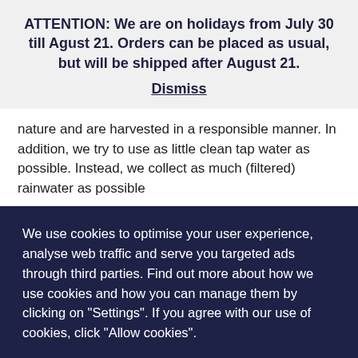ATTENTION: We are on holidays from July 30 till Agust 21. Orders can be placed as usual, but will be shipped after August 21.
Dismiss
nature and are harvested in a responsible manner. In addition, we try to use as little clean tap water as possible. Instead, we collect as much (filtered) rainwater as possible
We use cookies to optimise your user experience, analyse web traffic and serve you targeted ads through third parties. Find out more about how we use cookies and how you can manage them by clicking on "Settings". If you agree with our use of cookies, click "Allow cookies".
Settings
Allow cookies